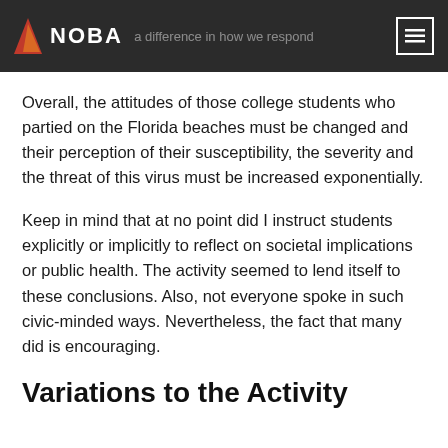NOBA
Overall, the attitudes of those college students who partied on the Florida beaches must be changed and their perception of their susceptibility, the severity and the threat of this virus must be increased exponentially.
Keep in mind that at no point did I instruct students explicitly or implicitly to reflect on societal implications or public health. The activity seemed to lend itself to these conclusions. Also, not everyone spoke in such civic-minded ways. Nevertheless, the fact that many did is encouraging.
Variations to the Activity